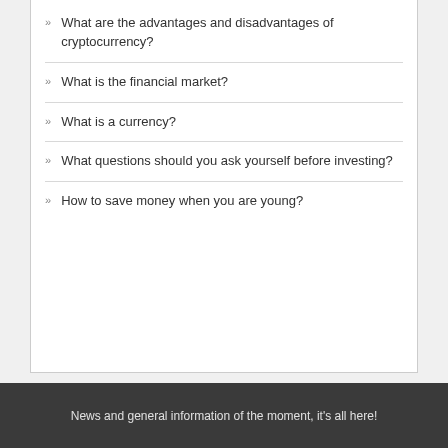What are the advantages and disadvantages of cryptocurrency?
What is the financial market?
What is a currency?
What questions should you ask yourself before investing?
How to save money when you are young?
News and general information of the moment, it's all here!